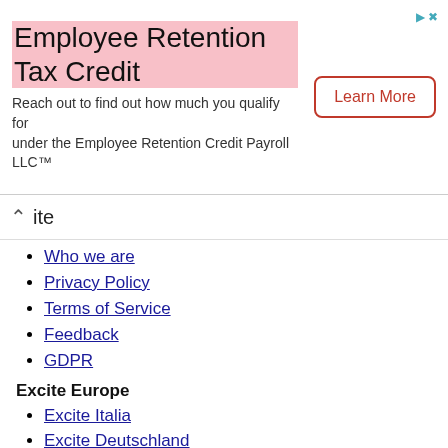[Figure (other): Advertisement banner for Employee Retention Tax Credit with 'Learn More' button]
ite
Who we are
Privacy Policy
Terms of Service
Feedback
GDPR
Excite Europe
Excite Italia
Excite Deutschland
Excite España
Excite France
Excite Nederland
Excite USA
Stay connected with us